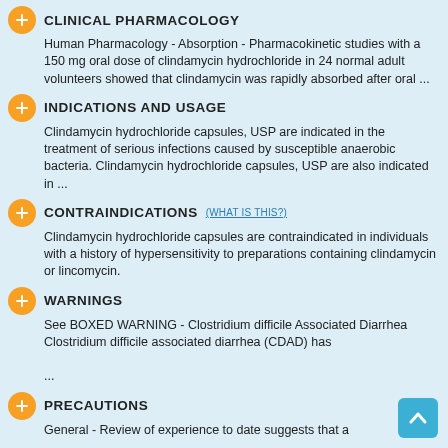CLINICAL PHARMACOLOGY
Human Pharmacology - Absorption - Pharmacokinetic studies with a 150 mg oral dose of clindamycin hydrochloride in 24 normal adult volunteers showed that clindamycin was rapidly absorbed after oral ...
INDICATIONS AND USAGE
Clindamycin hydrochloride capsules, USP are indicated in the treatment of serious infections caused by susceptible anaerobic bacteria. Clindamycin hydrochloride capsules, USP are also indicated in ...
CONTRAINDICATIONS (WHAT IS THIS?)
Clindamycin hydrochloride capsules are contraindicated in individuals with a history of hypersensitivity to preparations containing clindamycin or lincomycin.
WARNINGS
See BOXED WARNING - Clostridium difficile Associated Diarrhea Clostridium difficile associated diarrhea (CDAD) has ...
PRECAUTIONS
General - Review of experience to date suggests that a